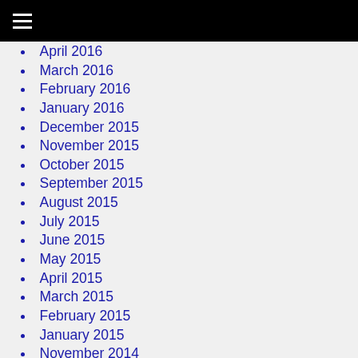Navigation menu
April 2016
March 2016
February 2016
January 2016
December 2015
November 2015
October 2015
September 2015
August 2015
July 2015
June 2015
May 2015
April 2015
March 2015
February 2015
January 2015
November 2014
October 2014
September 2014
August 2014